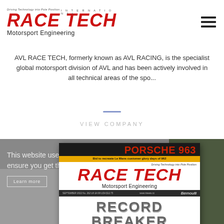[Figure (logo): Race Tech International Motorsport Engineering logo with red italic bold text and taglines]
AVL RACE TECH, formerly known as AVL RACING, is the specialist global motorsport division of AVL and has been actively involved in all technical areas of the spo...
VIEW COMPANY
[Figure (screenshot): Cookie consent notice overlay on a blurred building photo, with a Race Tech magazine cover showing 'PORSCHE 963' headline and 'RECORD BREAKER' text at bottom]